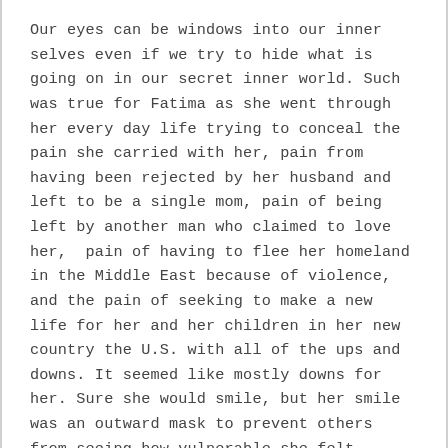Our eyes can be windows into our inner selves even if we try to hide what is going on in our secret inner world. Such was true for Fatima as she went through her every day life trying to conceal the pain she carried with her, pain from having been rejected by her husband and left to be a single mom, pain of being left by another man who claimed to love her, pain of having to flee her homeland in the Middle East because of violence, and the pain of seeking to make a new life for her and her children in her new country the U.S. with all of the ups and downs. It seemed like mostly downs for her. Sure she would smile, but her smile was an outward mask to prevent others from seeing how vulnerable she felt.